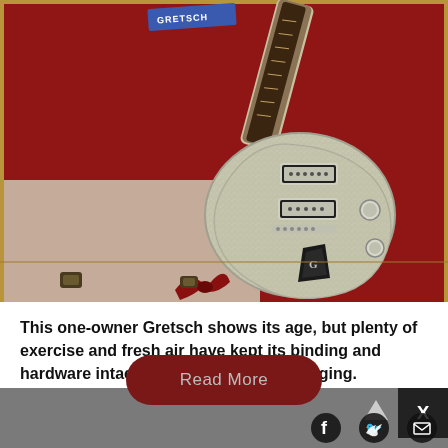[Figure (photo): A vintage silver-sparkle Gretsch electric guitar resting in its open red velvet-lined tweed case, photographed from above. The guitar has a single-cutaway body with chrome hardware, two pickups, and a distinctive G-branded tailpiece. A blue Gretsch label is visible at the top of the case.]
This one-owner Gretsch shows its age, but plenty of exercise and fresh air have kept its binding and hardware intact, and its single-coils singing.